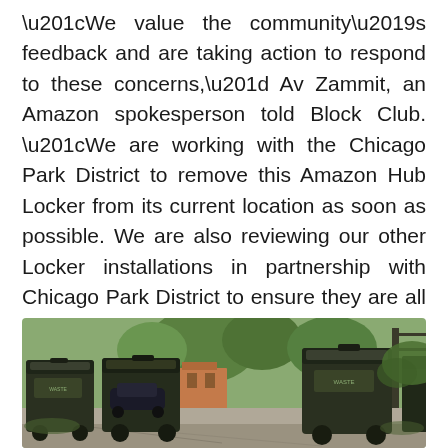“We value the community’s feedback and are taking action to respond to these concerns,” Av Zammit, an Amazon spokesperson told Block Club. “We are working with the Chicago Park District to remove this Amazon Hub Locker from its current location as soon as possible. We are also reviewing our other Locker installations in partnership with Chicago Park District to ensure they are all located in appropriate areas that serve both customers and the community.”
[Figure (photo): Outdoor alley scene with multiple dark green/black large wheeled trash bins on a paved surface, trees and brick buildings visible in the background, photographed in daylight.]